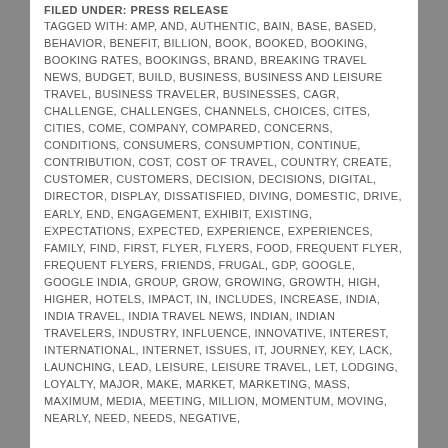FILED UNDER: PRESS RELEASE
TAGGED WITH: AMP, AND, AUTHENTIC, BAIN, BASE, BASED, BEHAVIOR, BENEFIT, BILLION, BOOK, BOOKED, BOOKING, BOOKING RATES, BOOKINGS, BRAND, BREAKING TRAVEL NEWS, BUDGET, BUILD, BUSINESS, BUSINESS AND LEISURE TRAVEL, BUSINESS TRAVELER, BUSINESSES, CAGR, CHALLENGE, CHALLENGES, CHANNELS, CHOICES, CITES, CITIES, COME, COMPANY, COMPARED, CONCERNS, CONDITIONS, CONSUMERS, CONSUMPTION, CONTINUE, CONTRIBUTION, COST, COST OF TRAVEL, COUNTRY, CREATE, CUSTOMER, CUSTOMERS, DECISION, DECISIONS, DIGITAL, DIRECTOR, DISPLAY, DISSATISFIED, DIVING, DOMESTIC, DRIVE, EARLY, END, ENGAGEMENT, EXHIBIT, EXISTING, EXPECTATIONS, EXPECTED, EXPERIENCE, EXPERIENCES, FAMILY, FIND, FIRST, FLYER, FLYERS, FOOD, FREQUENT FLYER, FREQUENT FLYERS, FRIENDS, FRUGAL, GDP, GOOGLE, GOOGLE INDIA, GROUP, GROW, GROWING, GROWTH, HIGH, HIGHER, HOTELS, IMPACT, IN, INCLUDES, INCREASE, INDIA, INDIA TRAVEL, INDIA TRAVEL NEWS, INDIAN, INDIAN TRAVELERS, INDUSTRY, INFLUENCE, INNOVATIVE, INTEREST, INTERNATIONAL, INTERNET, ISSUES, IT, JOURNEY, KEY, LACK, LAUNCHING, LEAD, LEISURE, LEISURE TRAVEL, LET, LODGING, LOYALTY, MAJOR, MAKE, MARKET, MARKETING, MASS, MAXIMUM, MEDIA, MEETING, MILLION, MOMENTUM, MOVING, NEARLY, NEED, NEEDS, NEGATIVE